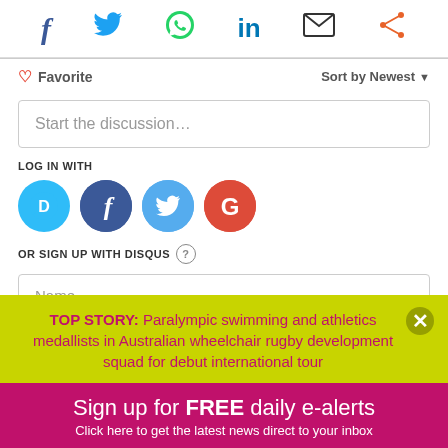[Figure (screenshot): Social share icons row: Facebook, Twitter, WhatsApp, LinkedIn, Email, Share]
❤ Favorite
Sort by Newest ▼
Start the discussion...
LOG IN WITH
[Figure (screenshot): Login icons: Disqus (D), Facebook (f), Twitter bird, Google (G)]
OR SIGN UP WITH DISQUS ?
Name
TOP STORY: Paralympic swimming and athletics medallists in Australian wheelchair rugby development squad for debut international tour
Sign up for FREE daily e-alerts Click here to get the latest news direct to your inbox